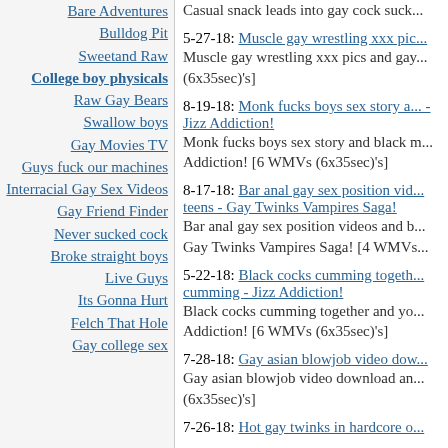Bare Adventures
Bulldog Pit
Sweetand Raw
College boy physicals
Raw Gay Bears
Swallow boys
Gay Movies TV
Guys fuck our machines
Interracial Gay Sex Videos
Gay Friend Finder
Never sucked cock
Broke straight boys
Live Guys
Its Gonna Hurt
Felch That Hole
Gay college sex
Casual snack leads into gay cock suck...
5-27-18: Muscle gay wrestling xxx pics and gay... Muscle gay wrestling xxx pics and gay... (6x35sec)'s]
8-19-18: Monk fucks boys sex story and... - Jizz Addiction! Monk fucks boys sex story and black m... Addiction! [6 WMVs (6x35sec)'s]
8-17-18: Bar anal gay sex position vid... teens - Gay Twinks Vampires Saga! Bar anal gay sex position videos and b... Gay Twinks Vampires Saga! [4 WMVs...
5-22-18: Black cocks cumming together... cumming - Jizz Addiction! Black cocks cumming together and yo... Addiction! [6 WMVs (6x35sec)'s]
7-28-18: Gay asian blowjob video dow... Gay asian blowjob video download an... (6x35sec)'s]
7-26-18: Hot gay twinks in hardcore o...